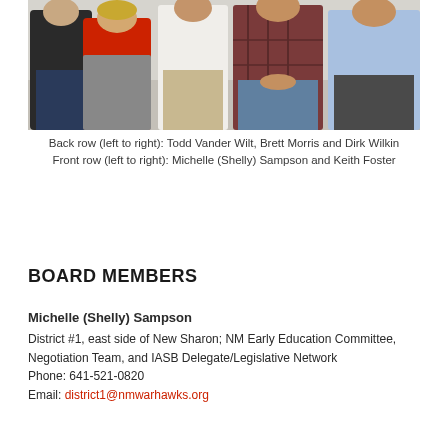[Figure (photo): Group photo of five people standing in two rows. Back row has three people, front row has two.]
Back row (left to right): Todd Vander Wilt, Brett Morris and Dirk Wilkin
Front row (left to right): Michelle (Shelly) Sampson and Keith Foster
BOARD MEMBERS
Michelle (Shelly) Sampson
District #1, east side of New Sharon; NM Early Education Committee, Negotiation Team, and IASB Delegate/Legislative Network
Phone: 641-521-0820
Email: district1@nmwarhawks.org